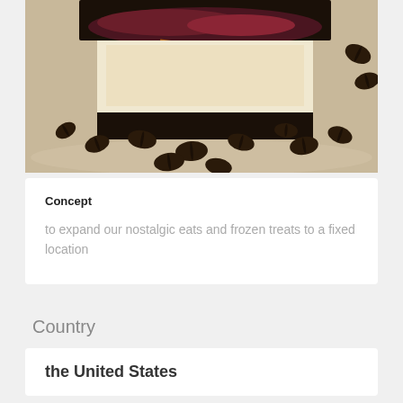[Figure (photo): Close-up photo of a slice of dessert (appears to be an ice cream or cheesecake bar with dark crust and berry topping) surrounded by scattered coffee beans on a light ceramic plate]
Concept
to expand our nostalgic eats and frozen treats to a fixed location
Country
the United States